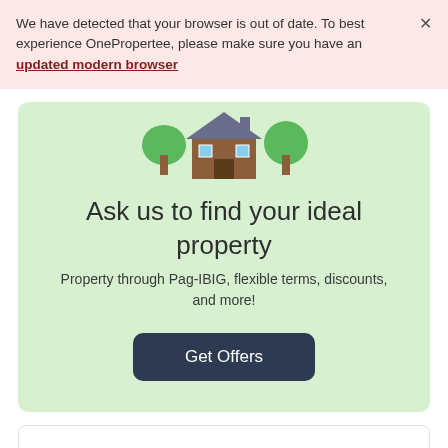We have detected that your browser is out of date. To best experience OnePropertee, please make sure you have an updated modern browser
[Figure (illustration): Illustration of a house with trees on a green background]
Ask us to find your ideal property
Property through Pag-IBIG, flexible terms, discounts, and more!
Get Offers
Frequently asked questions about Complete Armina SF